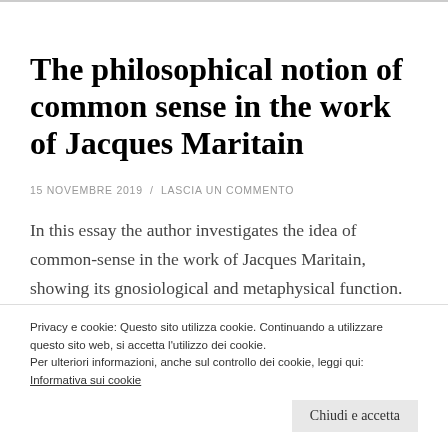The philosophical notion of common sense in the work of Jacques Maritain
15 NOVEMBRE 2019  /  LASCIA UN COMMENTO
In this essay the author investigates the idea of common-sense in the work of Jacques Maritain, showing its gnosiological and metaphysical function. The discussion is preceeded by an historical and theoretical
Privacy e cookie: Questo sito utilizza cookie. Continuando a utilizzare questo sito web, si accetta l'utilizzo dei cookie.
Per ulteriori informazioni, anche sul controllo dei cookie, leggi qui:
Informativa sui cookie
Chiudi e accetta